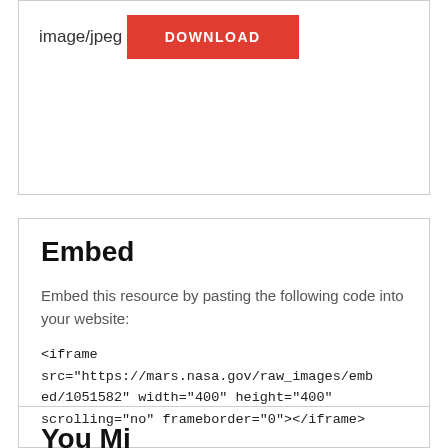image/jpeg
DOWNLOAD
Embed
Embed this resource by pasting the following code into your website:
<iframe src="https://mars.nasa.gov/raw_images/embed/1051582" width="400" height="400" scrolling="no" frameborder="0"></iframe>
You Mi...